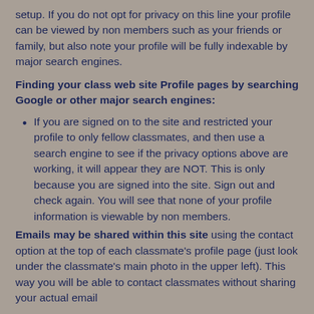setup. If you do not opt for privacy on this line your profile can be viewed by non members such as your friends or family, but also note your profile will be fully indexable by major search engines.
Finding your class web site Profile pages by searching Google or other major search engines:
If you are signed on to the site and restricted your profile to only fellow classmates, and then use a search engine to see if the privacy options above are working, it will appear they are NOT. This is only because you are signed into the site. Sign out and check again. You will see that none of your profile information is viewable by non members.
Emails may be shared within this site using the contact option at the top of each classmate's profile page (just look under the classmate's main photo in the upper left). This way you will be able to contact classmates without sharing your actual email...